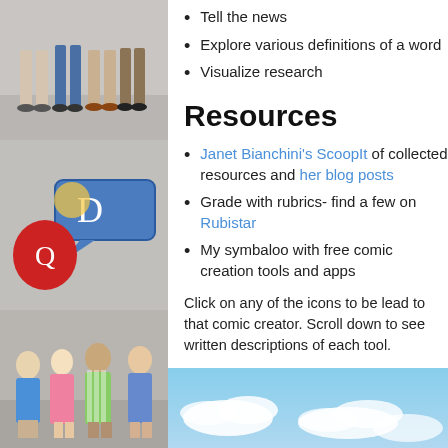[Figure (photo): Left strip collage: top section showing legs/feet of people standing, middle section showing comic/speech bubble graphic with red character, bottom section showing group of children standing together]
Tell the news
Explore various definitions of a word
Visualize research
Resources
Janet Bianchini's ScoopIt of collected resources and her blog posts
Grade with rubrics- find a few on Rubistar
My symbaloo with free comic creation tools and apps
Click on any of the icons to be lead to that comic creator. Scroll down to see written descriptions of each tool.
[Figure (photo): Blue sky with white clouds, partial view at bottom of page]